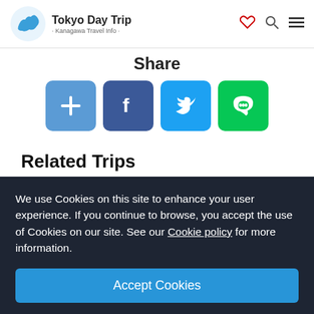Tokyo Day Trip · Kanagawa Travel Info ·
Share
[Figure (other): Social share buttons: plus/add, Facebook, Twitter, LINE]
Related Trips
[Figure (other): Two related trip card thumbnails — one dark and one blue]
We use Cookies on this site to enhance your user experience. If you continue to browse, you accept the use of Cookies on our site. See our Cookie policy for more information.
Accept Cookies